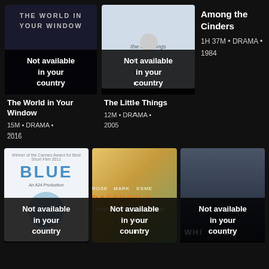[Figure (photo): Movie poster for The World in Your Window - dark blue/black background with stylized text, with Not available in your country overlay]
[Figure (photo): Movie poster for The Little Things - light blue/grey tones showing a young person's face, with Not available in your country overlay]
Among the Cinders
1H 37M • DRAMA • 1984
The World in Your Window
15M • DRAMA • 2016
The Little Things
12M • DRAMA • 2005
[Figure (photo): Movie poster for Blue - white background with BLUE in large blue letters and a blue circle, with Not available in your country overlay]
[Figure (photo): Movie poster for Daffodils - warm golden outdoor scene with couple, DAFFODILS in orange letters, with Not available in your country overlay]
[Figure (photo): Movie poster for Whities/White Lies - dark moody image with two faces, with Not available in your country overlay]